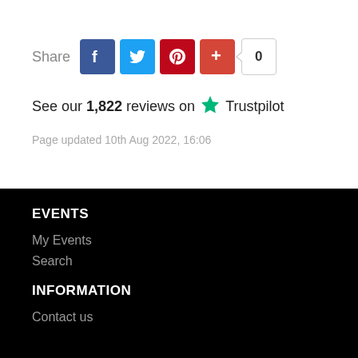[Figure (infographic): Share buttons row: Facebook (blue), Twitter (blue), Pinterest (red), Google+ (red-orange), and a share count badge showing 0]
See our 1,822 reviews on ★ Trustpilot
Page updated 10th Aug 2022, 16:06
EVENTS
My Events
Search
INFORMATION
Contact us